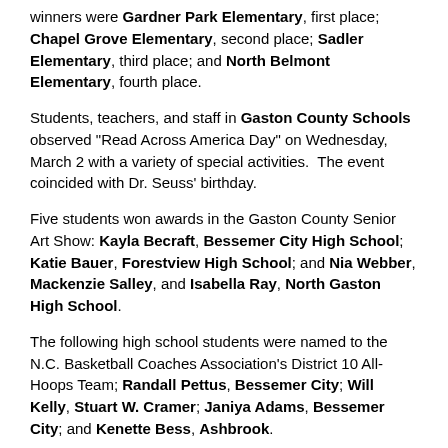winners were Gardner Park Elementary, first place; Chapel Grove Elementary, second place; Sadler Elementary, third place; and North Belmont Elementary, fourth place.
Students, teachers, and staff in Gaston County Schools observed "Read Across America Day" on Wednesday, March 2 with a variety of special activities. The event coincided with Dr. Seuss' birthday.
Five students won awards in the Gaston County Senior Art Show: Kayla Becraft, Bessemer City High School; Katie Bauer, Forestview High School; and Nia Webber, Mackenzie Salley, and Isabella Ray, North Gaston High School.
The following high school students were named to the N.C. Basketball Coaches Association's District 10 All-Hoops Team; Randall Pettus, Bessemer City; Will Kelly, Stuart W. Cramer; Janiya Adams, Bessemer City; and Kenette Bess, Ashbrook.
Ashbrook High School teacher Anna